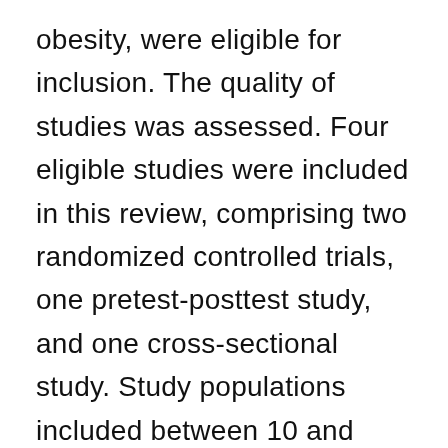obesity, were eligible for inclusion. The quality of studies was assessed. Four eligible studies were included in this review, comprising two randomized controlled trials, one pretest-posttest study, and one cross-sectional study. Study populations included between 10 and 1040 participants. Dietary interventions included the Mediterranean diet, low-fat diet, intermittent fasting, continuous energy restriction, and a combination of fasting and a standardized low-calorie diabetic diet (LCD). Significant weight loss was observed within groups for low-fat diet, Mediterranean diet,